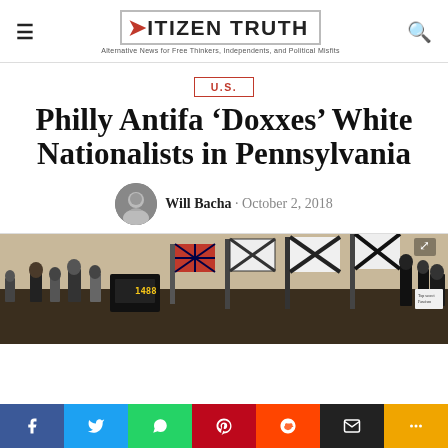CITIZEN TRUTH — Alternative News for Free Thinkers, Independents, and Political Misfits
U.S.
Philly Antifa 'Doxxes' White Nationalists in Pennsylvania
Will Bacha · October 2, 2018
[Figure (photo): Crowd of people holding Confederate flags, nationalist flags, and black-and-white banners at a rally.]